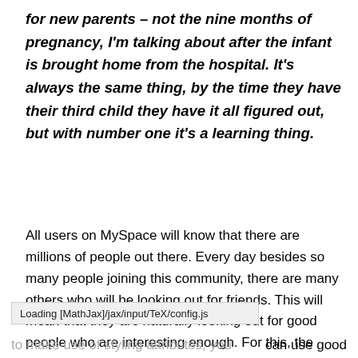for new parents – not the nine months of pregnancy, I'm talking about after the infant is brought home from the hospital. It's always the same thing, by the time they have their third child they have it all figured out, but with number one it's a learning thing.
All users on MySpace will know that there are millions of people out there. Every day besides so many people joining this community, there are many others who will be looking out for friends. This will mean that they are naturally looking out for good people who are interesting enough. For this, the profile has to be very interesting.
Loading [MathJax]/jax/input/TeX/config.js
can use good